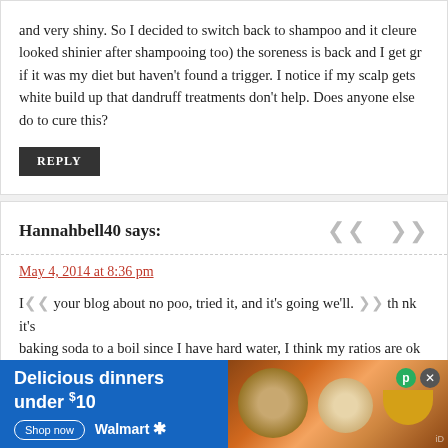and very shiny. So I decided to switch back to shampoo and it cleared. looked shinier after shampooing too) the soreness is back and I get gr if it was my diet but haven't found a trigger. I notice if my scalp gets white build up that dandruff treatments don't help. Does anyone else do to cure this?
REPLY
Hannahbell40 says:
May 4, 2014 at 8:36 pm
I read your blog about no poo, tried it, and it's going we'll. I think it's baking soda to a boil since I have hard water, I think my ratios are ok shower- but when rinsing out the baking soda it feels so waxy, I some everyone talks about, but typically it's just waxy feeling- so after I wa wash my hands… I also feel like I need to wash my hair yet everyday nice but I can't help thinking I'm...
[Figure (infographic): Walmart advertisement banner: 'Delicious dinners under $10' with Shop now button and food images showing salads and soups]